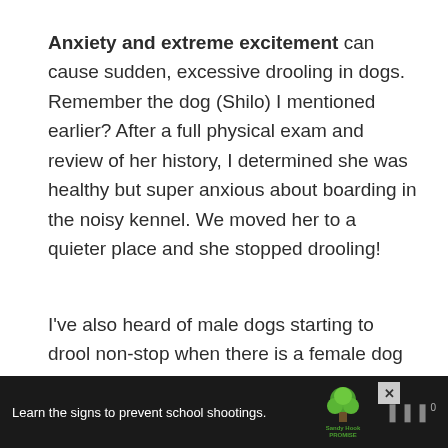Anxiety and extreme excitement can cause sudden, excessive drooling in dogs. Remember the dog (Shilo) I mentioned earlier? After a full physical exam and review of her history, I determined she was healthy but super anxious about boarding in the noisy kennel. We moved her to a quieter place and she stopped drooling!
I've also heard of male dogs starting to drool non-stop when there is a female dog in heat nearby. I'm not sure if that's due to excitement or anxiety, you'll have to ask
[Figure (screenshot): Advertisement banner: Sandy Hook Promise ad with tree logo and text 'Learn the signs to prevent school shootings.' with close button and mute icon.]